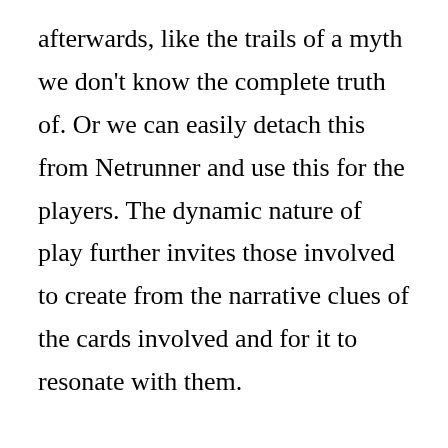afterwards, like the trails of a myth we don't know the complete truth of. Or we can easily detach this from Netrunner and use this for the players. The dynamic nature of play further invites those involved to create from the narrative clues of the cards involved and for it to resonate with them.

The rules of Netrunner then become a ritual, motions filled with symbolism that we act out in order to reflect on ourselves or our social condition. In a sense, I feel like it completes